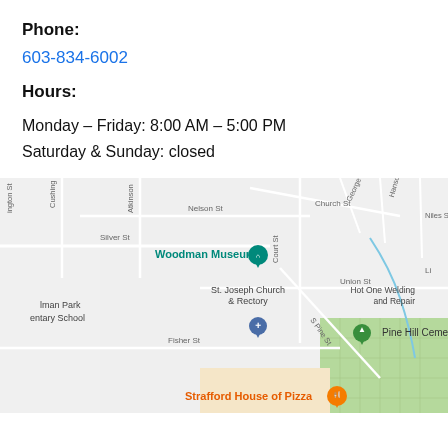Phone:
603-834-6002
Hours:
Monday – Friday: 8:00 AM – 5:00 PM
Saturday & Sunday: closed
[Figure (map): Google Maps snippet centered on Woodman Museum area in Dover, NH. Shows streets including Silver St, Church St, Nelson St, Atkinson, Cushing, George St, Hanson St, Niles St, Court St, Union St, S Pine St, Fisher St. Landmarks visible: Woodman Museum (teal pin), St. Joseph Church & Rectory (blue cross pin), Pine Hill Cemetery (green), Hot One Welding and Repair, Strafford House of Pizza (orange pin), Liman Park Elementary School.]